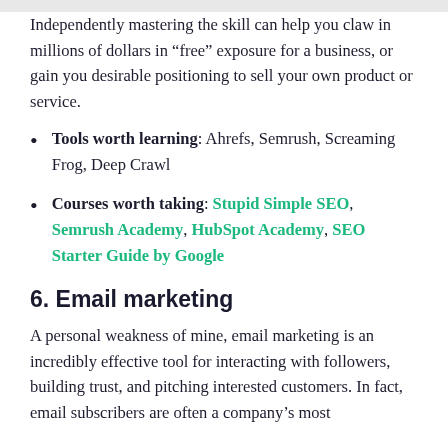Independently mastering the skill can help you claw in millions of dollars in “free” exposure for a business, or gain you desirable positioning to sell your own product or service.
Tools worth learning: Ahrefs, Semrush, Screaming Frog, Deep Crawl
Courses worth taking: Stupid Simple SEO, Semrush Academy, HubSpot Academy, SEO Starter Guide by Google
6. Email marketing
A personal weakness of mine, email marketing is an incredibly effective tool for interacting with followers, building trust, and pitching interested customers. In fact, email subscribers are often a company’s most